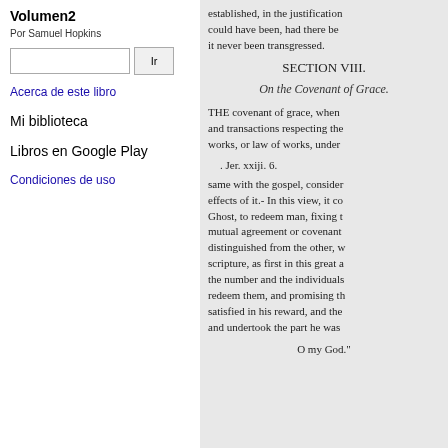Volumen2
Por Samuel Hopkins
Acerca de este libro
Mi biblioteca
Libros en Google Play
Condiciones de uso
established, in the justification could have been, had there be it never been transgressed.
SECTION VIII.
On the Covenant of Grace.
THE covenant of grace, when and transactions respecting the works, or law of works, under
. Jer. xxiji. 6.
same with the gospel, consider effects of it.- In this view, it co Ghost, to redeem man, fixing t mutual agreement or covenant distinguished from the other, w scripture, as first in this great a the number and the individuals redeem them, and promising th satisfied in his reward, and the and undertook the part he was
O my God."